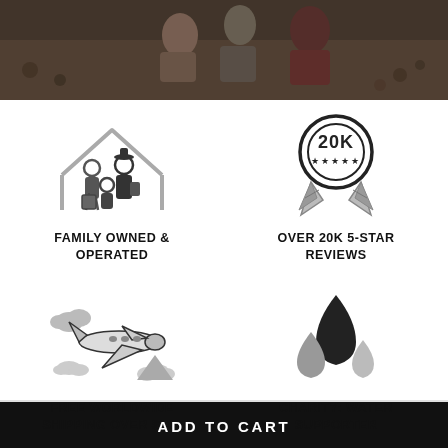[Figure (photo): Photo of people sitting outdoors on ground with leaves]
[Figure (illustration): Family under house roof icon - family owned and operated]
FAMILY OWNED & OPERATED
[Figure (illustration): Award medal with 20K text and 5 stars]
OVER 20K 5-STAR REVIEWS
[Figure (illustration): Airplane with clouds icon - free worldwide shipping]
FREE WORLDWIDE SHIPPING OVER $100
[Figure (illustration): Water droplets icon - charity water supporter]
CHARITY: WATER SUPPORTER
ADD TO CART